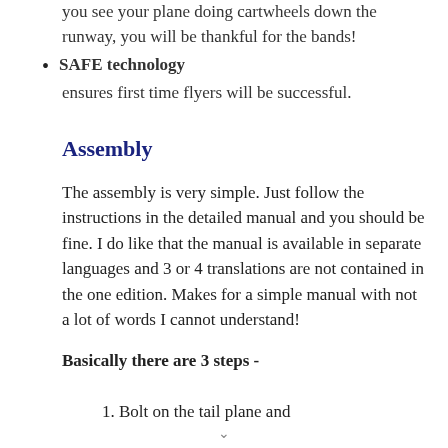you see your plane doing cartwheels down the runway, you will be thankful for the bands!
SAFE technology ensures first time flyers will be successful.
Assembly
The assembly is very simple. Just follow the instructions in the detailed manual and you should be fine. I do like that the manual is available in separate languages and 3 or 4 translations are not contained in the one edition. Makes for a simple manual with not a lot of words I cannot understand!
Basically there are 3 steps -
Bolt on the tail plane and